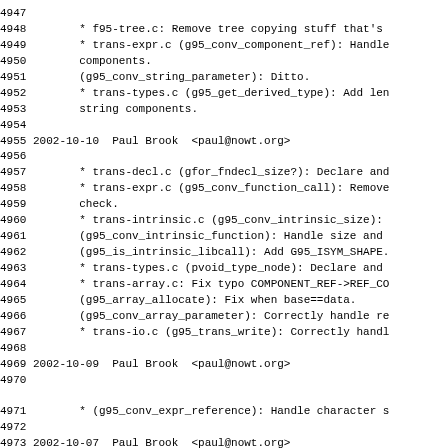4947
4948        * f95-tree.c: Remove tree copying stuff that's
4949        * trans-expr.c (g95_conv_component_ref): Handle
4950        components.
4951        (g95_conv_string_parameter): Ditto.
4952        * trans-types.c (g95_get_derived_type): Add len
4953        string components.
4954
4955 2002-10-10  Paul Brook  <paul@nowt.org>
4956
4957        * trans-decl.c (gfor_fndecl_size?): Declare and
4958        * trans-expr.c (g95_conv_function_call): Remove
4959        check.
4960        * trans-intrinsic.c (g95_conv_intrinsic_size):
4961        (g95_conv_intrinsic_function): Handle size and
4962        (g95_is_intrinsic_libcall): Add G95_ISYM_SHAPE.
4963        * trans-types.c (pvoid_type_node): Declare and
4964        * trans-array.c: Fix typo COMPONENT_REF->REF_CO
4965        (g95_array_allocate): Fix when base==data.
4966        (g95_conv_array_parameter): Correctly handle re
4967        * trans-io.c (g95_trans_write): Correctly handl
4968
4969 2002-10-09  Paul Brook  <paul@nowt.org>
4970
4971        * (g95_conv_expr_reference): Handle character s
4972
4973 2002-10-07  Paul Brook  <paul@nowt.org>
4974
4975        (g95_expand_decl): Rename from f95_expand_decl_
4976        langhook.
4977        * trans-array.c (g95_build_array_initializer):
4978        (g95_conv_array_initializer): New Function.